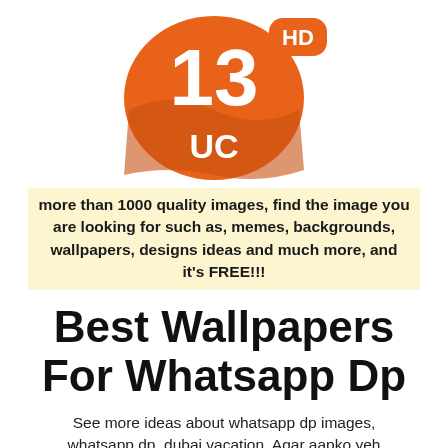[Figure (logo): Orange oval logo with '13' in white large text and 'UC' below in white, plus an orange rounded badge to the top-right with 'HD' in white text]
more than 1000 quality images, find the image you are looking for such as, memes, backgrounds, wallpapers, designs ideas and much more, and it's FREE!!!
Best Wallpapers For Whatsapp Dp
See more ideas about whatsapp dp images, whatsapp dp, dubai vacation. Agar aapko yeh